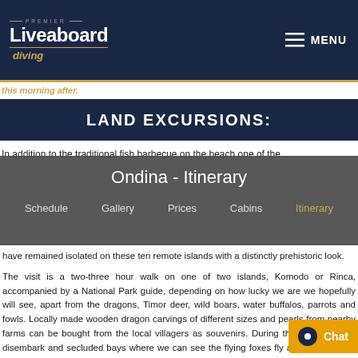[Figure (logo): Premier Liveaboard Diving logo with white and gold text on dark navy background]
MENU navigation header
this morning after.
LAND EXCURSIONS:
In addition to the traditional fish barbecue on the beach one of the
Ondina - Itinerary
Schedule | Gallery | Prices | Cabins | Itinerary
have remained isolated on these ten remote islands with a distinctly prehistoric look.
The visit is a two-three hour walk on one of two islands, Komodo or Rinca, accompanied by a National Park guide, depending on how lucky we are we hopefully will see, apart from the dragons, Timor deer, wild boars, water buffalos, parrots and fowls. Locally made wooden dragon carvings of different sizes and pearls from nearby farms can be bought from the local villagers as souvenirs. During the cruise we will disembark and secluded bays where we can see the flying foxes fly at dusk and also visit some fishing villages during our sail through this occo